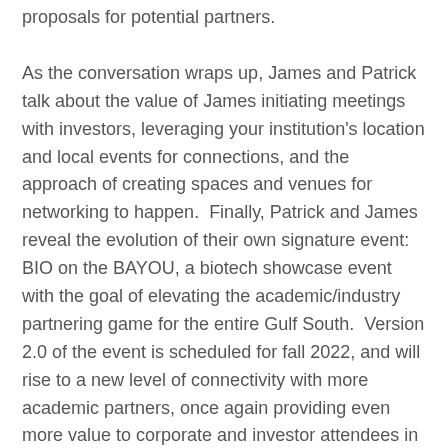proposals for potential partners.
As the conversation wraps up, James and Patrick talk about the value of James initiating meetings with investors, leveraging your institution's location and local events for connections, and the approach of creating spaces and venues for networking to happen.  Finally, Patrick and James reveal the evolution of their own signature event: BIO on the BAYOU, a biotech showcase event with the goal of elevating the academic/industry partnering game for the entire Gulf South.  Version 2.0 of the event is scheduled for fall 2022, and will rise to a new level of connectivity with more academic partners, once again providing even more value to corporate and investor attendees in one of the most amazing cities to visit in the country.